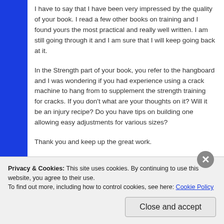I have to say that I have been very impressed by the quality of your book. I read a few other books on training and I found yours the most practical and really well written. I am still going through it and I am sure that I will keep going back at it.
In the Strength part of your book, you refer to the hangboard and I was wondering if you had experience using a crack machine to hang from to supplement the strength training for cracks. If you don't what are your thoughts on it? Will it be an injury recipe? Do you have tips on building one allowing easy adjustments for various sizes?
Thank you and keep up the great work.
Privacy & Cookies: This site uses cookies. By continuing to use this website, you agree to their use.
To find out more, including how to control cookies, see here: Cookie Policy